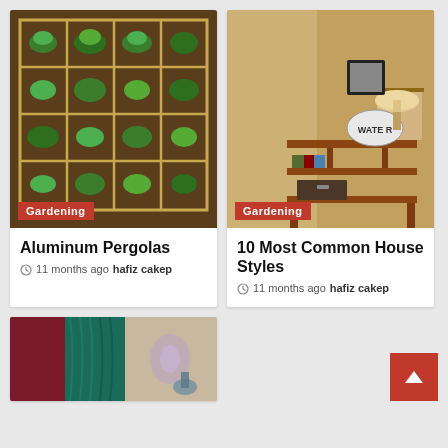[Figure (photo): Garden raised bed with square foot grid pattern and green plants]
Gardening
Aluminum Pergolas
11 months ago hafiz cakep
[Figure (photo): Interior shelf/console table with decorative items, lamp, and WATER sign]
Gardening
10 Most Common House Styles
11 months ago hafiz cakep
[Figure (photo): Curtains with burgundy and teal colors with floral wallpaper]